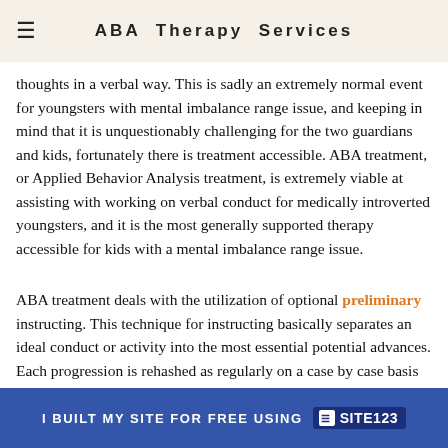ABA Therapy Services
thoughts in a verbal way. This is sadly an extremely normal event for youngsters with mental imbalance range issue, and keeping in mind that it is unquestionably challenging for the two guardians and kids, fortunately there is treatment accessible. ABA treatment, or Applied Behavior Analysis treatment, is extremely viable at assisting with working on verbal conduct for medically introverted youngsters, and it is the most generally supported therapy accessible for kids with a mental imbalance range issue.
ABA treatment deals with the utilization of optional preliminary instructing. This technique for instructing basically separates an ideal conduct or activity into the most essential potential advances. Each progression is rehashed as regularly on a case by case basis until it can be emulated. The means are first
I BUILT MY SITE FOR FREE USING SITE123